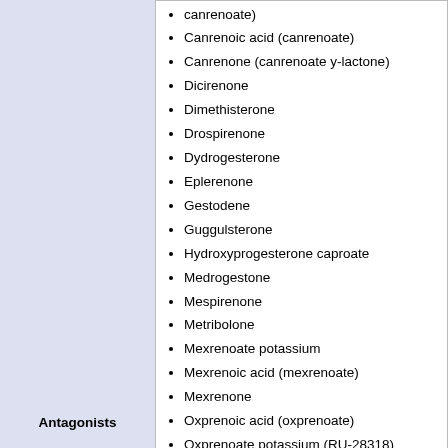canrenoate)
Canrenoic acid (canrenoate)
Canrenone (canrenoate y-lactone)
Dicirenone
Dimethisterone
Drospirenone
Dydrogesterone
Eplerenone
Gestodene
Guggulsterone
Hydroxyprogesterone caproate
Medrogestone
Mespirenone
Metribolone
Mexrenoate potassium
Mexrenoic acid (mexrenoate)
Mexrenone
Oxprenoic acid (oxprenoate)
Oxprenoate potassium (RU-28318)
Pregnenolone
Progesterone
Prorenoate potassium
Antagonists